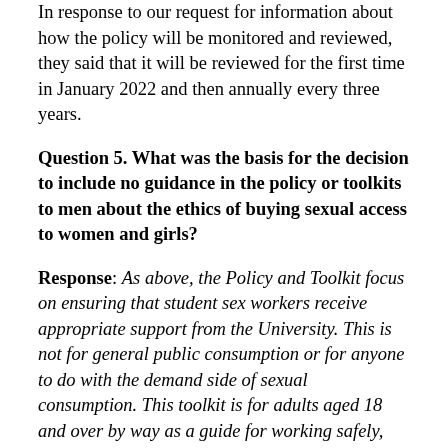In response to our request for information about how the policy will be monitored and reviewed, they said that it will be reviewed for the first time in January 2022 and then annually every three years.
Question 5. What was the basis for the decision to include no guidance in the policy or toolkits to men about the ethics of buying sexual access to women and girls?
Response: As above, the Policy and Toolkit focus on ensuring that student sex workers receive appropriate support from the University. This is not for general public consumption or for anyone to do with the demand side of sexual consumption. This toolkit is for adults aged 18 and over by way as a guide for working safely, seeking support and addressing unfair treatment in an education setting they may